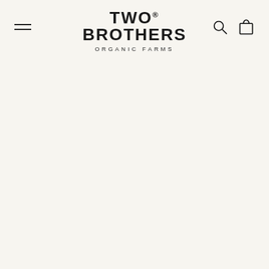[Figure (logo): Two Brothers Organic Farms logo with hamburger menu icon on the left and search/cart icons on the right]